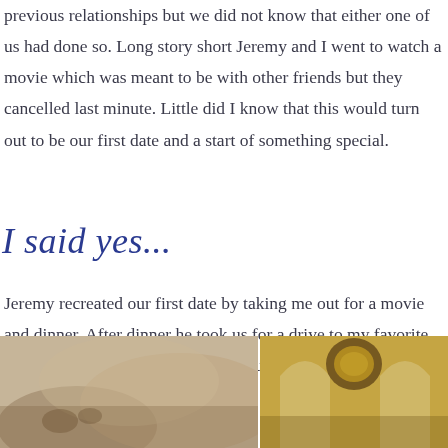previous relationships but we did not know that either one of us had done so. Long story short Jeremy and I went to watch a movie which was meant to be with other friends but they cancelled last minute. Little did I know that this would turn out to be our first date and a start of something special.
I said yes...
Jeremy recreated our first date by taking me out for a movie and dinner. After dinner he took us for a drive to my favorite place in Auckland and popped the question.
[Figure (photo): Left photo: warm beige/tan toned photo, appears to show a table setting or floral arrangement]
[Figure (photo): Right photo: golden/amber toned photo, appears to show an interior with arched windows and a mirror or clock]